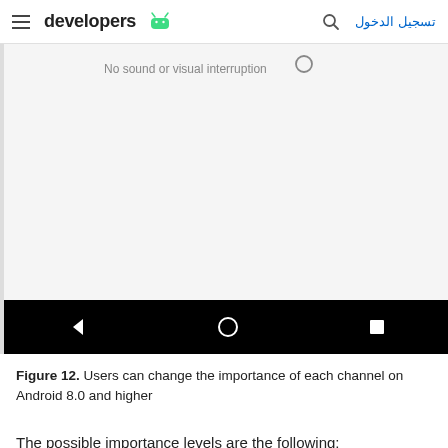developers — تسجيل الدخول
[Figure (screenshot): Android settings screenshot showing notification channel importance option 'No sound or visual interruption' with a radio button, and an Android navigation bar at the bottom with back, home, and recents buttons on a black background.]
Figure 12. Users can change the importance of each channel on Android 8.0 and higher
The possible importance levels are the following: